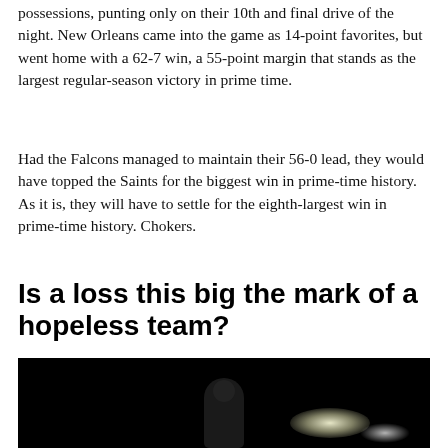possessions, punting only on their 10th and final drive of the night. New Orleans came into the game as 14-point favorites, but went home with a 62-7 win, a 55-point margin that stands as the largest regular-season victory in prime time.
Had the Falcons managed to maintain their 56-0 lead, they would have topped the Saints for the biggest win in prime-time history. As it is, they will have to settle for the eighth-largest win in prime-time history. Chokers.
Is a loss this big the mark of a hopeless team?
[Figure (photo): Dark nighttime photo showing a silhouetted figure (player or coach) against a dark background with bright stadium lights visible on the right side]